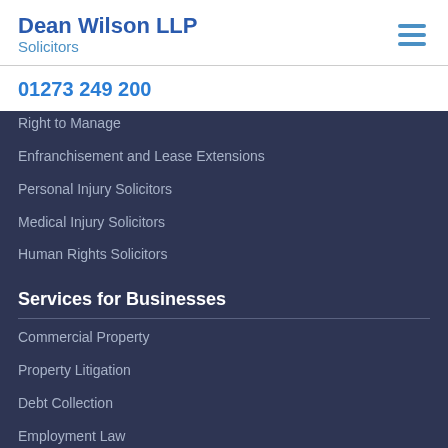Dean Wilson LLP Solicitors
01273 249 200
Right to Manage
Enfranchisement and Lease Extensions
Personal Injury Solicitors
Medical Injury Solicitors
Human Rights Solicitors
Services for Businesses
Commercial Property
Property Litigation
Debt Collection
Employment Law
Commercial and Civil Litigation
Licensing
Company Commercial Services